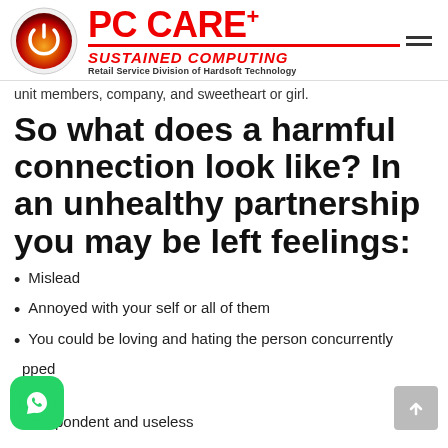[Figure (logo): PC CARE+ logo with power button icon and text: PC CARE+ SUSTAINED COMPUTING, Retail Service Division of Hardsoft Technology]
unit members, company, and sweetheart or girl.
So what does a harmful connection look like? In an unhealthy partnership you may be left feelings:
Mislead
Annoyed with your self or all of them
You could be loving and hating the person concurrently
pped
red
Despondent and useless